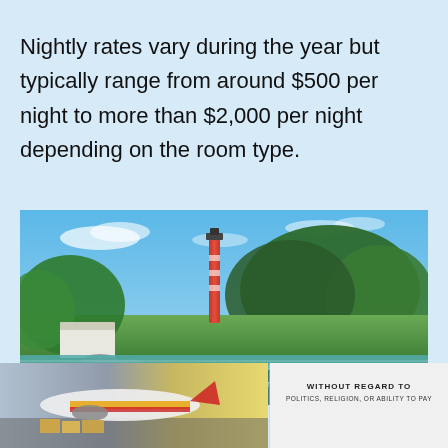Nightly rates vary during the year but typically range from around $500 per night to more than $2,000 per night depending on the room type.
[Figure (photo): Coastal scene with a red lighthouse rising above green trees, a white building to the left, and calm teal water in the foreground under a blue sky with scattered clouds. A watermark overlay reads 'No compatible source was found for this media.' with a close button.]
[Figure (photo): Advertisement banner showing an airplane being loaded on the tarmac on the left, and text 'WITHOUT REGARD TO POLITICS, RELIGION, OR ABILITY TO PAY' on the right side.]